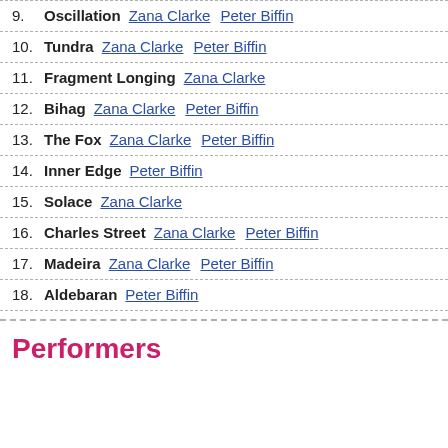9. Oscillation   Zana Clarke   Peter Biffin
10. Tundra   Zana Clarke   Peter Biffin
11. Fragment Longing   Zana Clarke
12. Bihag   Zana Clarke   Peter Biffin
13. The Fox   Zana Clarke   Peter Biffin
14. Inner Edge   Peter Biffin
15. Solace   Zana Clarke
16. Charles Street   Zana Clarke   Peter Biffin
17. Madeira   Zana Clarke   Peter Biffin
18. Aldebaran   Peter Biffin
Performers